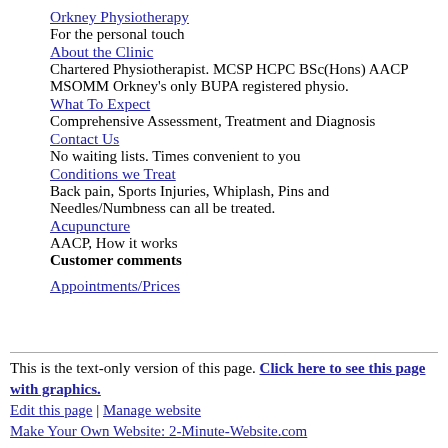Orkney Physiotherapy
For the personal touch
About the Clinic
Chartered Physiotherapist. MCSP HCPC BSc(Hons) AACP MSOMM Orkney's only BUPA registered physio.
What To Expect
Comprehensive Assessment, Treatment and Diagnosis
Contact Us
No waiting lists. Times convenient to you
Conditions we Treat
Back pain, Sports Injuries, Whiplash, Pins and Needles/Numbness can all be treated.
Acupuncture
AACP, How it works
Customer comments
Appointments/Prices
This is the text-only version of this page. Click here to see this page with graphics.
Edit this page | Manage website
Make Your Own Website: 2-Minute-Website.com